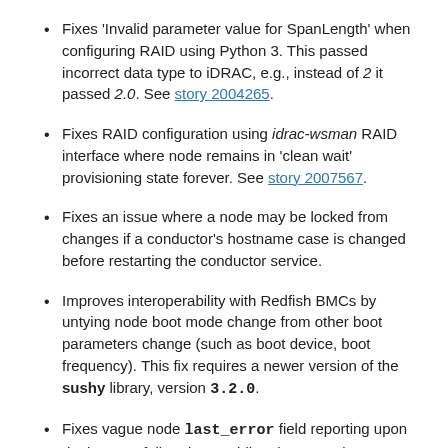Fixes 'Invalid parameter value for SpanLength' when configuring RAID using Python 3. This passed incorrect data type to iDRAC, e.g., instead of 2 it passed 2.0. See story 2004265.
Fixes RAID configuration using idrac-wsman RAID interface where node remains in 'clean wait' provisioning state forever. See story 2007567.
Fixes an issue where a node may be locked from changes if a conductor's hostname case is changed before restarting the conductor service.
Improves interoperability with Redfish BMCs by untying node boot mode change from other boot parameters change (such as boot device, boot frequency). This fix requires a newer version of the sushy library, version 3.2.0.
Fixes vague node last_error field reporting upon deploy step failure by providing the exception error message in addition to the step that failed.
The 'no address available' problem seen when network booting on DHCPv6-stateful networks is fixed with the